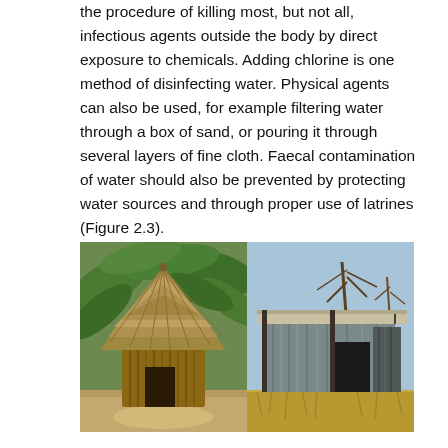the procedure of killing most, but not all, infectious agents outside the body by direct exposure to chemicals. Adding chlorine is one method of disinfecting water. Physical agents can also be used, for example filtering water through a box of sand, or pouring it through several layers of fine cloth. Faecal contamination of water should also be prevented by protecting water sources and through proper use of latrines (Figure 2.3).
[Figure (photo): Two photographs of latrines side by side. Left photo shows a traditional thatched-roof latrine structure made of sticks and reeds, surrounded by banana plant leaves. Right photo shows a modern corrugated metal sheet latrine structure with a flat roof, set in dry grassland with sparse trees in the background.]